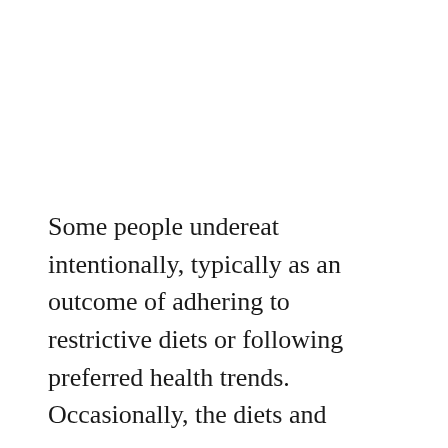Some people undereat intentionally, typically as an outcome of adhering to restrictive diets or following preferred health trends. Occasionally, the diets and